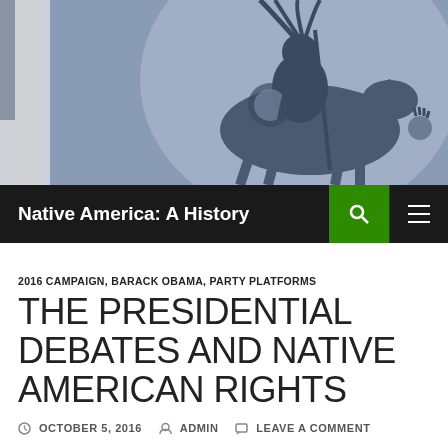[Figure (illustration): Header mural image showing a stylized Native American figure on horseback, rendered in blue-grey tones, with a tree trunk on the left side and architectural elements in the background.]
Native America: A History
2016 CAMPAIGN, BARACK OBAMA, PARTY PLATFORMS
THE PRESIDENTIAL DEBATES AND NATIVE AMERICAN RIGHTS
OCTOBER 5, 2016  ADMIN  LEAVE A COMMENT
Neither Governor Pence nor Senator Kaine had anything to